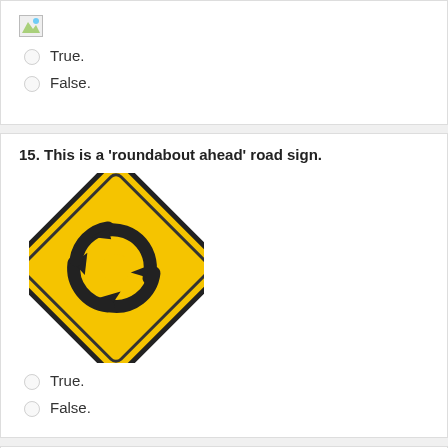[Figure (illustration): Broken/missing image placeholder icon]
True.
False.
15. This is a 'roundabout ahead' road sign.
[Figure (illustration): Yellow diamond-shaped road sign with circular arrows indicating a roundabout ahead]
True.
False.
16. This is a...